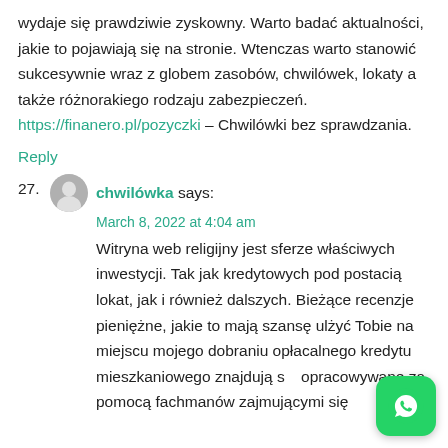wydaje się prawdziwie zyskowny. Warto badać aktualności, jakie to pojawiają się na stronie. Wtenczas warto stanowić sukcesywnie wraz z globem zasobów, chwilówek, lokaty a także różnorakiego rodzaju zabezpieczeń. https://finanero.pl/pozyczki – Chwilówki bez sprawdzania.
Reply
27. chwilówka says:
March 8, 2022 at 4:04 am
Witryna web religijny jest sferze właściwych inwestycji. Tak jak kredytowych pod postacią lokat, jak i również dalszych. Bieżące recenzje pieniężne, jakie to mają szansę ulżyć Tobie na miejscu mojego dobraniu opłacalnego kredytu mieszkaniowego znajdują się opracowywane za pomocą fachmanów zajmującymi się